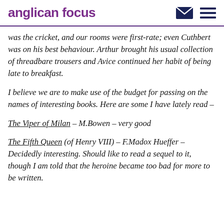anglican focus
was the cricket, and our rooms were first-rate; even Cuthbert was on his best behaviour. Arthur brought his usual collection of threadbare trousers and Avice continued her habit of being late to breakfast.
I believe we are to make use of the budget for passing on the names of interesting books. Here are some I have lately read –
The Viper of Milan – M.Bowen – very good
The Fifth Queen (of Henry VIII) – F.Madox Hueffer – Decidedly interesting. Should like to read a sequel to it, though I am told that the heroine became too bad for more to be written.